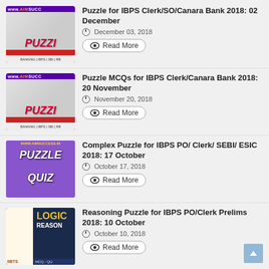Puzzle for IBPS Clerk/SO/Canara Bank 2018: 02 December
December 03, 2018
Read More
Puzzle MCQs for IBPS Clerk/Canara Bank 2018: 20 November
November 20, 2018
Read More
Complex Puzzle for IBPS PO/ Clerk/ SEBI/ ESIC 2018: 17 October
October 17, 2018
Read More
Reasoning Puzzle for IBPS PO/Clerk Prelims 2018: 10 October
October 10, 2018
Read More